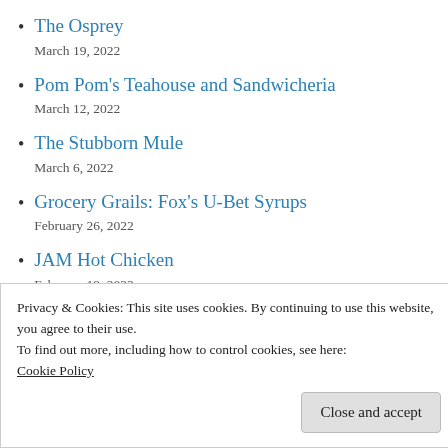The Osprey
March 19, 2022
Pom Pom's Teahouse and Sandwicheria
March 12, 2022
The Stubborn Mule
March 6, 2022
Grocery Grails: Fox's U-Bet Syrups
February 26, 2022
JAM Hot Chicken
February 19, 2022
Mynt Fine Indian Cuisine
Privacy & Cookies: This site uses cookies. By continuing to use this website, you agree to their use.
To find out more, including how to control cookies, see here:
Cookie Policy

Close and accept